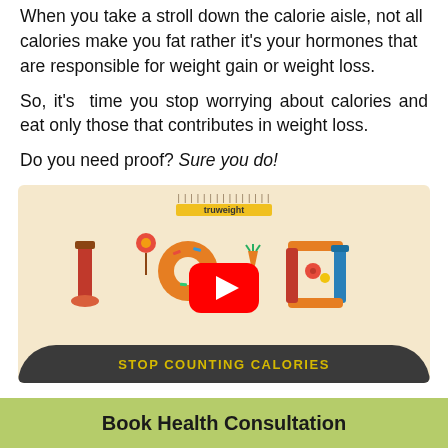When you take a stroll down the calorie aisle, not all calories make you fat rather it’s your hormones that are responsible for weight gain or weight loss.
So, it’s time you stop worrying about calories and eat only those that contributes in weight loss.
Do you need proof? Sure you do!
[Figure (screenshot): A YouTube video thumbnail with a beige background showing food illustrations forming the text '100'. A yellow 'truweight' label is at the top. A red YouTube play button is in the center. A dark rounded bar at the bottom reads 'STOP COUNTING CALORIES' in yellow bold text.]
Book Health Consultation